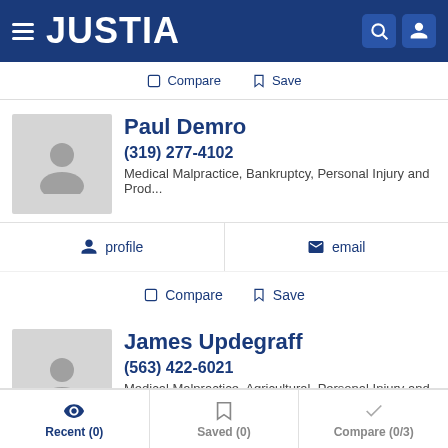JUSTIA
Compare   Save
Paul Demro
(319) 277-4102
Medical Malpractice, Bankruptcy, Personal Injury and Prod...
profile   email
Compare   Save
James Updegraff
(563) 422-6021
Medical Malpractice, Agricultural, Personal Injury and Prod...
profile   email
Recent (0)   Saved (0)   Compare (0/3)